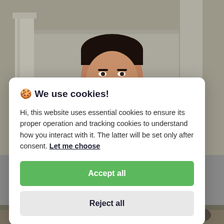[Figure (photo): A man in a dark suit and striped tie standing outdoors near stone columns, background blurred.]
🍪 We use cookies!
Hi, this website uses essential cookies to ensure its proper operation and tracking cookies to understand how you interact with it. The latter will be set only after consent. Let me choose
Accept all
Reject all
[Figure (photo): Partial view of a crowd or street scene at the bottom of the page.]